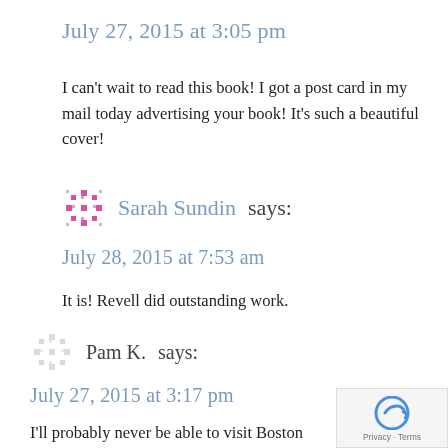July 27, 2015 at 3:05 pm
I can't wait to read this book! I got a post card in my mail today advertising your book! It's such a beautiful cover!
Sarah Sundin says:
July 28, 2015 at 7:53 am
It is! Revell did outstanding work.
Pam K. says:
July 27, 2015 at 3:17 pm
I'll probably never be able to visit Boston so it's